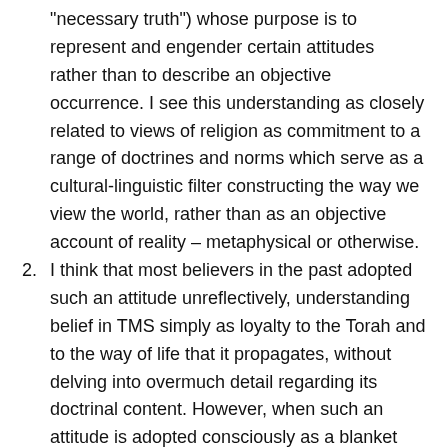“necessary truth”) whose purpose is to represent and engender certain attitudes rather than to describe an objective occurrence.  I see this understanding as closely related to views of religion as commitment to a range of doctrines and norms which serve as a cultural-linguistic filter constructing the way we view the world, rather than as an objective account of reality – metaphysical or otherwise.
I think that most believers in the past adopted such an attitude unreflectively, understanding belief in TMS simply as loyalty to the Torah and to the way of life that it propagates, without delving into overmuch detail regarding its doctrinal content. However, when such an attitude is adopted consciously as a blanket response to new loss of innocence, conducting day to day life according to its guidelines could be more problematic. This has driven me to develop a theory of revelation (as